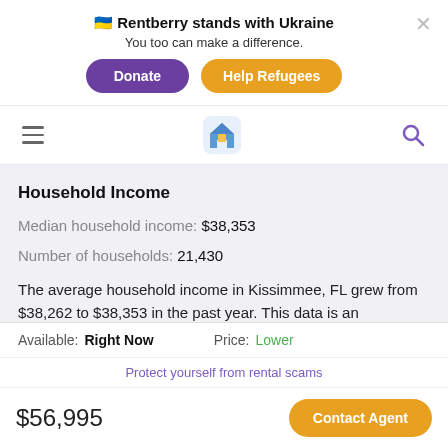🇺🇦 Rentberry stands with Ukraine
You too can make a difference.
Donate | Help Refugees
Navigation bar with hamburger menu, Rentberry home icon, and search icon
Household Income
Median household income: $38,353
Number of households: 21,430
The average household income in Kissimmee, FL grew from $38,262 to $38,353 in the past year. This data is an
Available: Right Now   Price: Lower
Protect yourself from rental scams
$56,995
Contact Agent